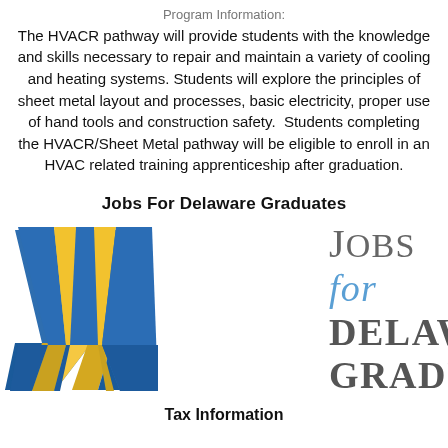Program Information: The HVACR pathway will provide students with the knowledge and skills necessary to repair and maintain a variety of cooling and heating systems. Students will explore the principles of sheet metal layout and processes, basic electricity, proper use of hand tools and construction safety. Students completing the HVACR/Sheet Metal pathway will be eligible to enroll in an HVAC related training apprenticeship after graduation.
Jobs For Delaware Graduates
[Figure (logo): Jobs for Delaware Graduates logo featuring a blue and gold ribbon/chevron shape on the left, and stylized text reading JOBS for DELAWA[RE] GRADUA[TES] on the right in grey and blue serif font.]
Tax Information